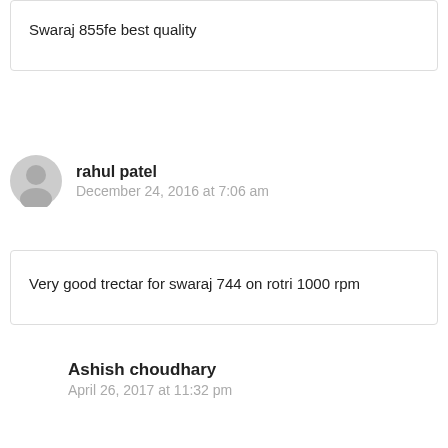Swaraj 855fe best quality
rahul patel
December 24, 2016 at 7:06 am
Very good trectar for swaraj 744 on rotri 1000 rpm
Ashish choudhary
April 26, 2017 at 11:32 pm